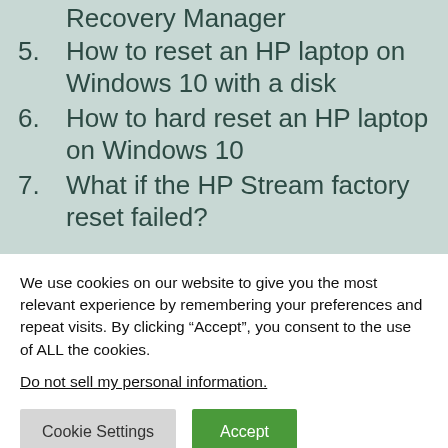Recovery Manager
5. How to reset an HP laptop on Windows 10 with a disk
6. How to hard reset an HP laptop on Windows 10
7. What if the HP Stream factory reset failed?
We use cookies on our website to give you the most relevant experience by remembering your preferences and repeat visits. By clicking “Accept”, you consent to the use of ALL the cookies.
Do not sell my personal information.